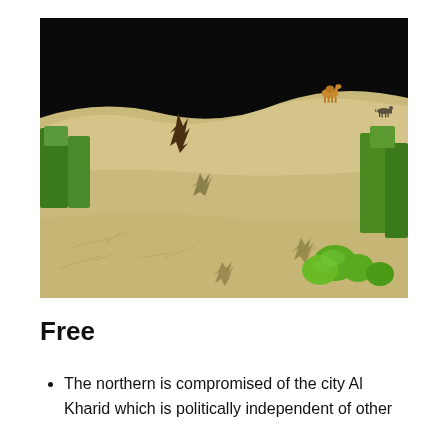[Figure (illustration): 3D rendered desert landscape scene with sandy dunes, green low-poly trees and shrubs, a small camel on the horizon, a wolf or dog to the right, dry scrub plants on the sand, and a black sky background.]
Free
The northern is compromised of the city Al Kharid which is politically independent of other